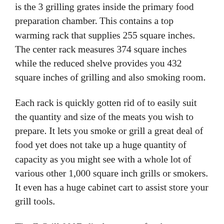is the 3 grilling grates inside the primary food preparation chamber. This contains a top warming rack that supplies 255 square inches. The center rack measures 374 square inches while the reduced shelve provides you 432 square inches of grilling and also smoking room.
Each rack is quickly gotten rid of to easily suit the quantity and size of the meats you wish to prepare. It lets you smoke or grill a great deal of food yet does not take up a huge quantity of capacity as you might see with a whole lot of various other 1,000 square inch grills or smokers. It even has a huge cabinet cart to assist store your grill tools.
The Z Grill 000D display screen for the electronic control device. This lets you change the rate that